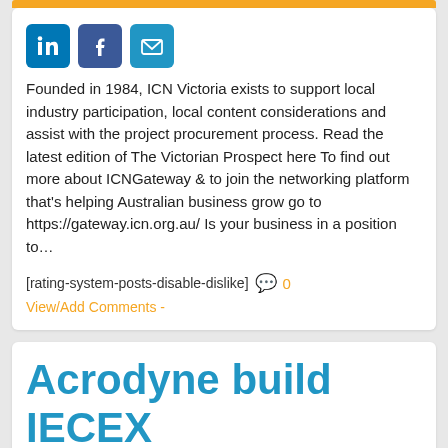[Figure (other): Orange decorative bar at top of card]
[Figure (other): Social media icons: LinkedIn, Facebook, Email]
Founded in 1984, ICN Victoria exists to support local industry participation, local content considerations and assist with the project procurement process. Read the latest edition of The Victorian Prospect here To find out more about ICNGateway & to join the networking platform that's helping Australian business grow go to https://gateway.icn.org.au/ Is your business in a position to…
[rating-system-posts-disable-dislike] 0
View/Add Comments -
Acrodyne build IECEX Hazardous area